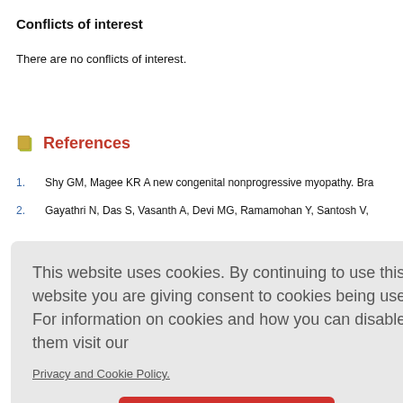Conflicts of interest
There are no conflicts of interest.
References
1. Shy GM, Magee KR A new congenital nonprogressive myopathy. Bra...
2. Gayathri N, Das S, Vasanth A, Devi MG, Ramamohan Y, Santosh V, ... valuation. ...
This website uses cookies. By continuing to use this website you are giving consent to cookies being used. For information on cookies and how you can disable them visit our
Privacy and Cookie Policy.
AGREE & PROCEED
7. Wallgren-Pettersson C Congenital nemaline myopathy: a longitud...